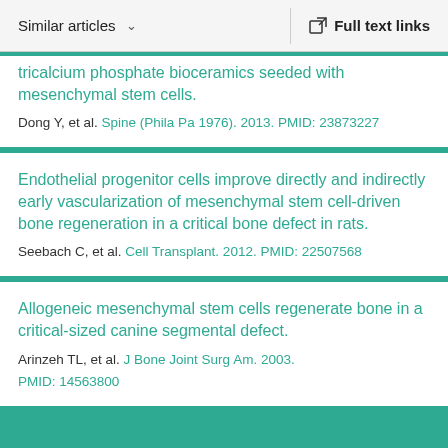Similar articles   Full text links
tricalcium phosphate bioceramics seeded with mesenchymal stem cells.
Dong Y, et al. Spine (Phila Pa 1976). 2013. PMID: 23873227
Endothelial progenitor cells improve directly and indirectly early vascularization of mesenchymal stem cell-driven bone regeneration in a critical bone defect in rats.
Seebach C, et al. Cell Transplant. 2012. PMID: 22507568
Allogeneic mesenchymal stem cells regenerate bone in a critical-sized canine segmental defect.
Arinzeh TL, et al. J Bone Joint Surg Am. 2003. PMID: 14563800